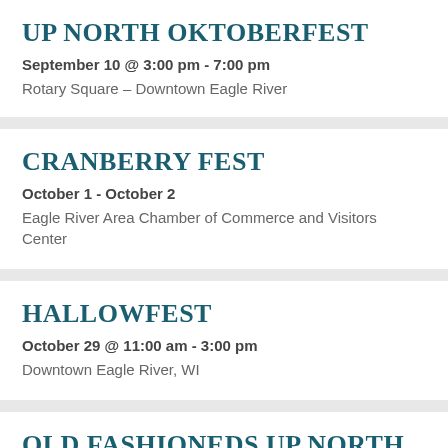UP NORTH OKTOBERFEST
September 10 @ 3:00 pm - 7:00 pm
Rotary Square – Downtown Eagle River
CRANBERRY FEST
October 1 - October 2
Eagle River Area Chamber of Commerce and Visitors Center
HALLOWFEST
October 29 @ 11:00 am - 3:00 pm
Downtown Eagle River, WI
OLD FASHIONEDS UP NORTH